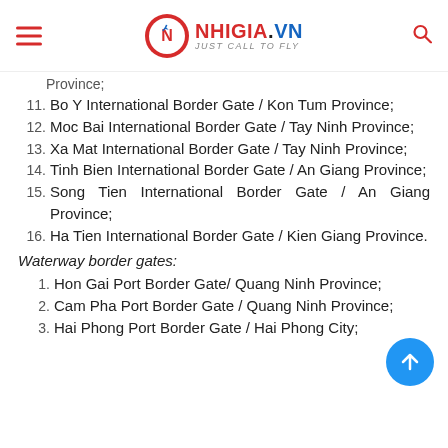NHIGIA.VN — JUST CALL TO FLY
11. Bo Y International Border Gate / Kon Tum Province;
12. Moc Bai International Border Gate / Tay Ninh Province;
13. Xa Mat International Border Gate / Tay Ninh Province;
14. Tinh Bien International Border Gate / An Giang Province;
15. Song Tien International Border Gate / An Giang Province;
16. Ha Tien International Border Gate / Kien Giang Province.
Waterway border gates:
1. Hon Gai Port Border Gate/ Quang Ninh Province;
2. Cam Pha Port Border Gate / Quang Ninh Province;
3. Hai Phong Port Border Gate / Hai Phong City;